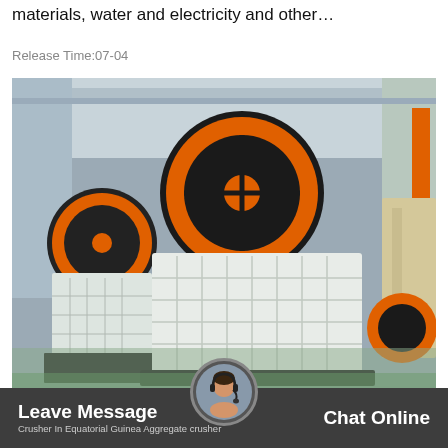materials, water and electricity and other…
Release Time:07-04
[Figure (photo): Industrial jaw crushers in a factory warehouse. Two large white and black jaw crusher machines with orange and black flywheels on metal bases, shown inside a manufacturing facility.]
crusher plantation pictures from equatorial guinea
Leave Message   Chat Online   Crusher In Equatorial Guinea Aggregate crusher